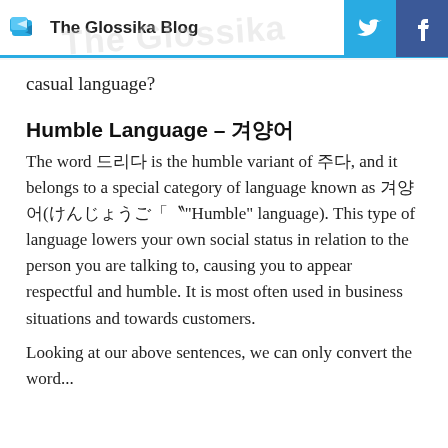The Glossika Blog
casual language?
Humble Language – 겸양어
The word 드리다 is the humble variant of 주다, and it belongs to a special category of language known as 겸양어(けんじょうご"Humble" language). This type of language lowers your own social status in relation to the person you are talking to, causing you to appear respectful and humble. It is most often used in business situations and towards customers.
Looking at our above sentences, we can only convert the word...